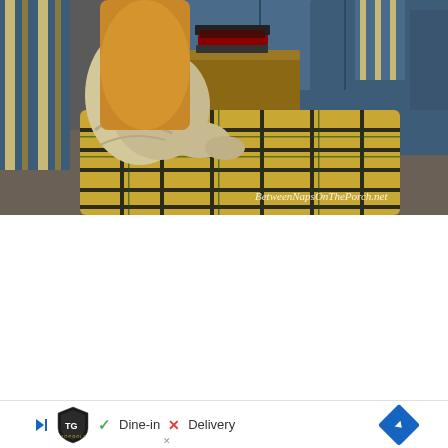[Figure (photo): Indoor living room scene photographed from a low angle. In the foreground is a plaid/tartan upholstered chair or ottoman with yellow, black, and blue pattern. A cream/beige blanket or fabric is draped over it. Behind is a wooden side table with stacked books/DVDs. A blue denim-style sofa is visible in the background along with striped blue cushions. A watermark reading 'BetweenNapsOnThePorch.net' appears in white text in the lower right of the image.]
[Figure (infographic): Advertisement banner for TopGolf showing: a play/skip button icon on the left, TopGolf shield logo, a green checkmark with 'Dine-in', a red X with 'Delivery', and a blue diamond-shaped navigation arrow on the right.]